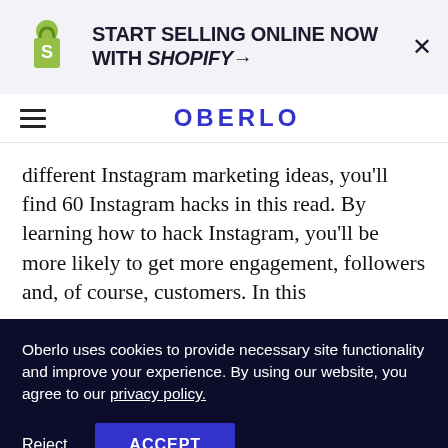[Figure (logo): Shopify bag logo with green color and white 'S' letter]
START SELLING ONLINE NOW WITH SHOPIFY→
OBERLO
different Instagram marketing ideas, you'll find 60 Instagram hacks in this read. By learning how to hack Instagram, you'll be more likely to get more engagement, followers and, of course, customers. In this
Oberlo uses cookies to provide necessary site functionality and improve your experience. By using our website, you agree to our privacy policy.
Reject  ACCEPT